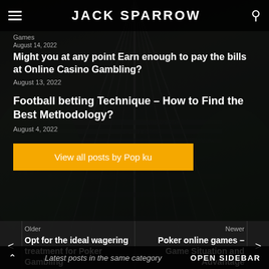JACK SPARROW
Games
August 14, 2022
Might you at any point Earn enough to pay the bills at Online Casino Gambling?
August 13, 2022
Football betting Technique – How to Find the Best Methodology?
August 4, 2022
View all posts by Pop ku
Older
Opt for the ideal wagering treatment for Poker Gambling
Newer
Poker online games – Game Situation and Advantage
Latest posts in the same category   OPEN SIDEBAR